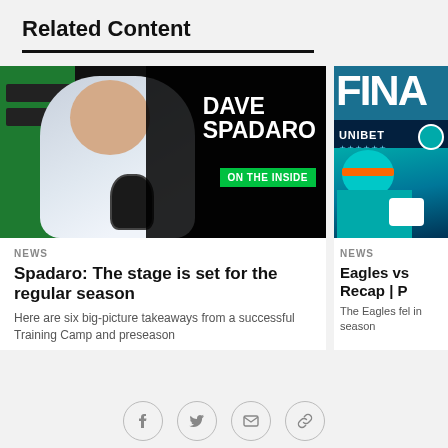Related Content
[Figure (photo): Dave Spadaro On The Inside — man in light blue blazer holding microphone against dark background with green shelving; text reads DAVE SPADARO ON THE INSIDE]
NEWS
Spadaro: The stage is set for the regular season
Here are six big-picture takeaways from a successful Training Camp and preseason
[Figure (photo): Eagles vs Dolphins Final score recap image with UNIBET branding and Miami Dolphins player in teal jersey; partially cropped showing FINA text and UNIBET label]
NEWS
Eagles vs Recap | P
The Eagles fel in season